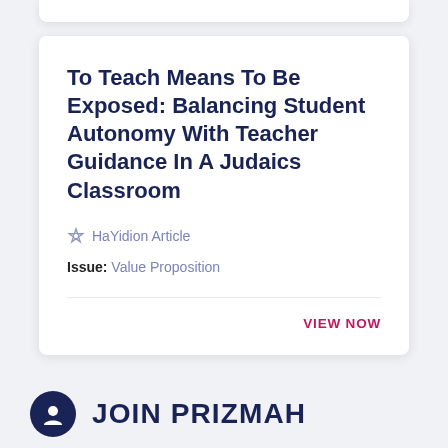To Teach Means To Be Exposed: Balancing Student Autonomy With Teacher Guidance In A Judaics Classroom
HaYidion Article
Issue: Value Proposition
VIEW NOW
JOIN PRIZMAH